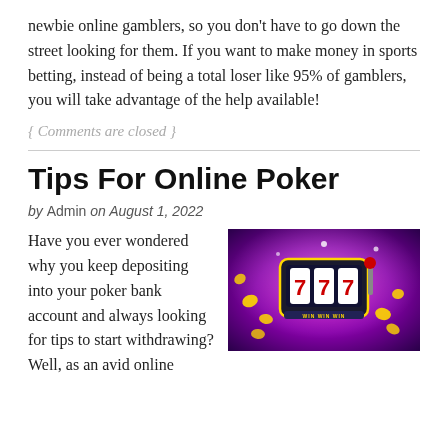newbie online gamblers, so you don't have to go down the street looking for them. If you want to make money in sports betting, instead of being a total loser like 95% of gamblers, you will take advantage of the help available!
{ Comments are closed }
Tips For Online Poker
by Admin on August 1, 2022
[Figure (photo): Slot machine showing 777 with gold coins on purple glowing background]
Have you ever wondered why you keep depositing into your poker bank account and always looking for tips to start withdrawing? Well, as an avid online